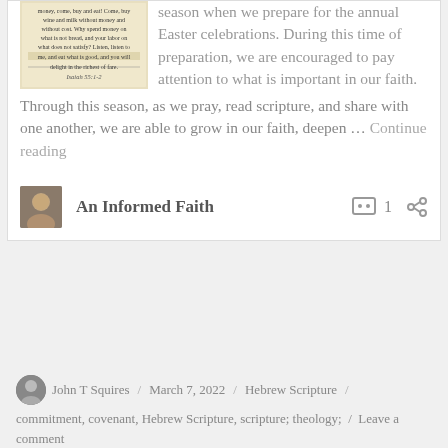[Figure (photo): Image of a Bible passage showing Isaiah 55:1-2 with highlighted text about money, wine, milk, bread and satisfaction]
season when we prepare for the annual Easter celebrations. During this time of preparation, we are encouraged to pay attention to what is important in our faith. Through this season, as we pray, read scripture, and share with one another, we are able to grow in our faith, deepen … Continue reading
[Figure (photo): Author avatar thumbnail - small portrait photo]
An Informed Faith
1
John T Squires  /  March 7, 2022  /  Hebrew Scripture  /  commitment, covenant, Hebrew Scripture, scripture; theology;  /  Leave a comment